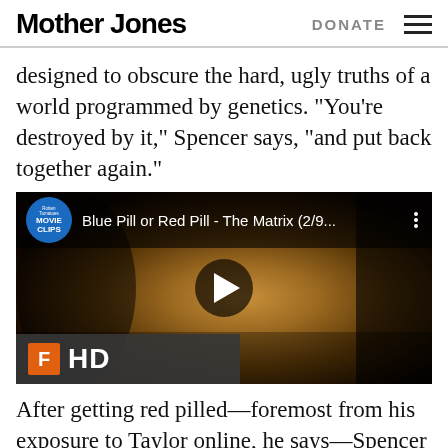Mother Jones | DONATE
designed to obscure the hard, ugly truths of a world programmed by genetics. “You’re destroyed by it,” Spencer says, “and put back together again.”
[Figure (screenshot): YouTube video thumbnail showing 'Blue Pill or Red Pill - The Matrix (2/9...' with Rotten Tomatoes Movie Clips badge, play button, and Fandango HD watermark. Background shows a close-up of a face from The Matrix.]
After getting red pilled—foremost from his exposure to Taylor online, he says—Spencer began quietly